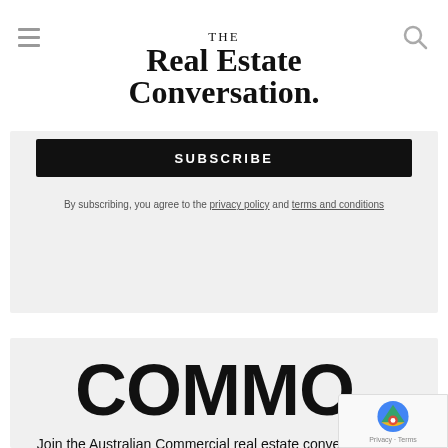THE Real Estate Conversation.
SUBSCRIBE
By subscribing, you agree to the privacy policy and terms and conditions
COMMO.
Join the Australian Commercial real estate conversation with COMMO our free newsletter
Your email address...
SUBSCRIBE